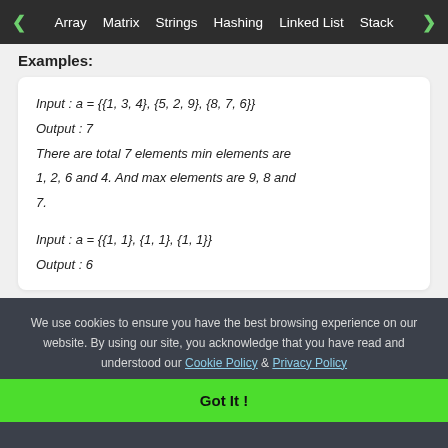< Array   Matrix   Strings   Hashing   Linked List   Stack >
Examples:
Input : a = {{1, 3, 4}, {5, 2, 9}, {8, 7, 6}}
Output : 7
There are total 7 elements min elements are 1, 2, 6 and 4. And max elements are 9, 8 and 7.

Input : a = {{1, 1}, {1, 1}, {1, 1}}
Output : 6
We use cookies to ensure you have the best browsing experience on our website. By using our site, you acknowledge that you have read and understood our Cookie Policy & Privacy Policy
Got It !